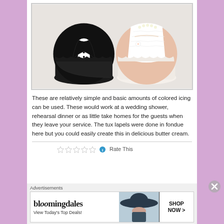[Figure (photo): Two decorative cupcakes styled as wedding couple: left cupcake has black fondant tuxedo design, right cupcake has white frosting bridal gown design with pearl decorations]
These are relatively simple and basic amounts of colored icing can be used. These would work at a wedding shower, rehearsal dinner or as little take homes for the guests when they leave your service. The tux lapels were done in fondue here but you could easily create this in delicious butter cream.
Rate This
Advertisements
[Figure (screenshot): Bloomingdales advertisement: 'bloomingdales View Today's Top Deals!' with image of woman in hat and 'SHOP NOW >' button]